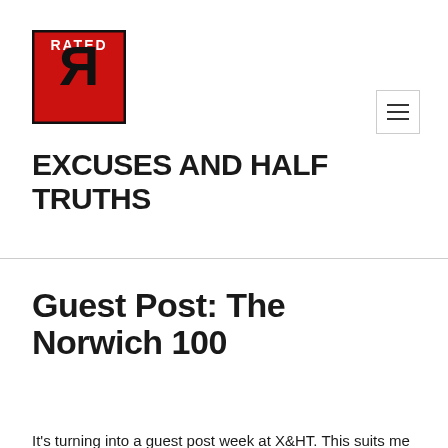[Figure (logo): Rated R logo — red square with black border, white 'RATED' text at top, large reversed black R letter below]
EXCUSES AND HALF TRUTHS
Guest Post: The Norwich 100
It's turning into a guest post week at X&HT. This suits me very well – I've been up to my earlobes in other